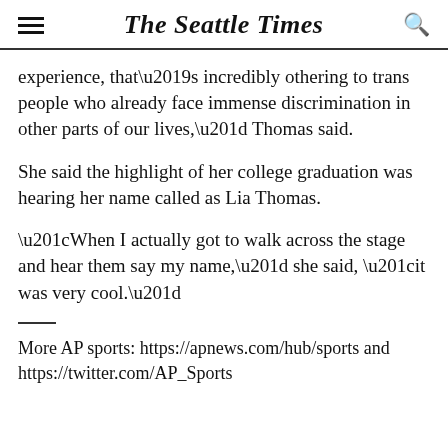The Seattle Times
experience, that’s incredibly othering to trans people who already face immense discrimination in other parts of our lives,” Thomas said.
She said the highlight of her college graduation was hearing her name called as Lia Thomas.
“When I actually got to walk across the stage and hear them say my name,” she said, “it was very cool.”
More AP sports: https://apnews.com/hub/sports and https://twitter.com/AP_Sports